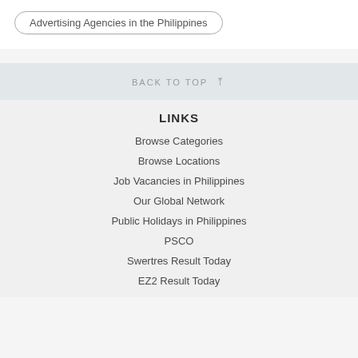Advertising Agencies in the Philippines
BACK TO TOP ↑
LINKS
Browse Categories
Browse Locations
Job Vacancies in Philippines
Our Global Network
Public Holidays in Philippines
PSCO
Swertres Result Today
EZ2 Result Today